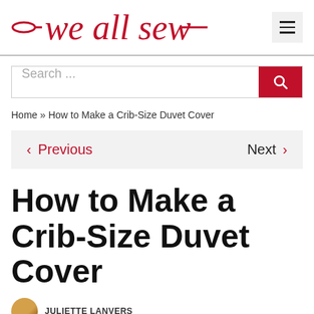we all sew
Search ...
Home » How to Make a Crib-Size Duvet Cover
< Previous   Next >
How to Make a Crib-Size Duvet Cover
JULIETTE LANVERS